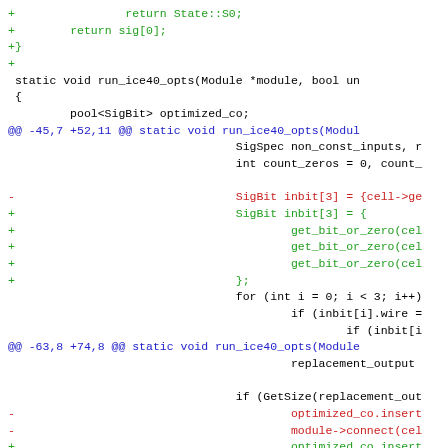[Figure (screenshot): A code diff view showing changes to a C++ file, with green lines for additions, red lines for deletions, and blue lines for diff hunk headers. The code involves SigBit arrays, get_bit_or_zero calls, replacement_output, optimized_co.insert, and module->connect calls.]